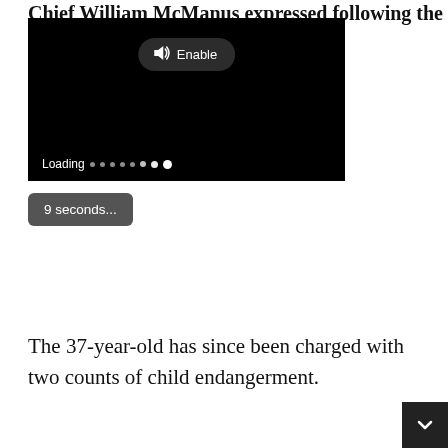Chief William McManus expressed following the
[Figure (screenshot): Embedded video player with black background showing 'Loading' indicator with dots, and an 'Enable' audio button overlay at the top center.]
9 seconds...
The 37-year-old has since been charged with two counts of child endangerment.